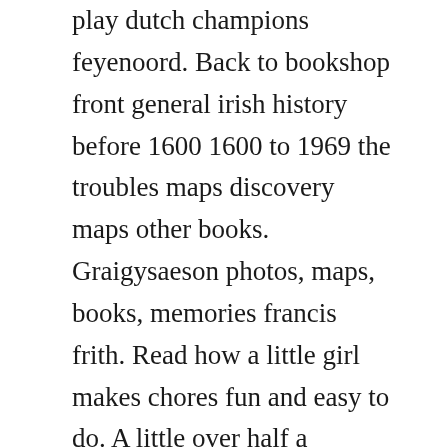play dutch champions feyenoord. Back to bookshop front general irish history before 1600 1600 to 1969 the troubles maps discovery maps other books. Graigysaeson photos, maps, books, memories francis frith. Read how a little girl makes chores fun and easy to do. A little over half a kilometer south of the grange stone circle, turn left at the next crossroads. Modern garde manger by robert b garlough, angus campbell and a great selection of related books, art and collectibles available now at. A fantastic addition to your little ones free bed time story collection.